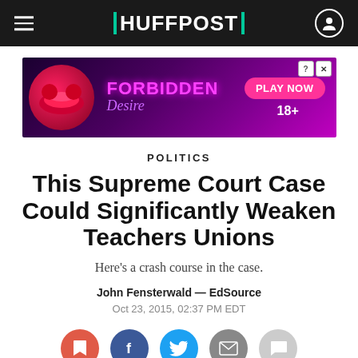HUFFPOST
[Figure (illustration): Advertisement banner for 'Forbidden Desire' game — dark purple/pink background with red lips image, pink neon text 'FORBIDDEN Desire', pink 'PLAY NOW' button, 18+ label]
POLITICS
This Supreme Court Case Could Significantly Weaken Teachers Unions
Here's a crash course in the case.
John Fensterwald — EdSource
Oct 23, 2015, 02:37 PM EDT
[Figure (infographic): Social sharing buttons: bookmark (red), Facebook (dark blue), Twitter (light blue), email (grey), comment (light grey)]